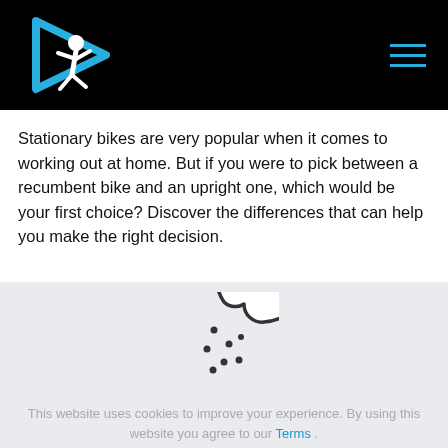[Logo: fitness/running figure with play button icon] [Hamburger menu]
Stationary bikes are very popular when it comes to working out at home. But if you were to pick between a recumbent bike and an upright one, which would be your first choice? Discover the differences that can help you make the right decision.
[Figure (illustration): Cookie icon: circular cookie with a bite taken out of the top right, with dots representing chocolate chips, drawn in a thin dark outline style on a light gray background.]
This website uses cookies to improve your experience. By using this website you agree to our Terms .
Read more
Accept all